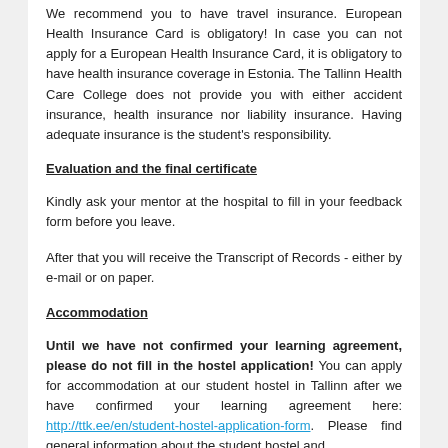We recommend you to have travel insurance. European Health Insurance Card is obligatory! In case you can not apply for a European Health Insurance Card, it is obligatory to have health insurance coverage in Estonia. The Tallinn Health Care College does not provide you with either accident insurance, health insurance nor liability insurance. Having adequate insurance is the student's responsibility.
Evaluation and the final certificate
Kindly ask your mentor at the hospital to fill in your feedback form before you leave.
After that you will receive the Transcript of Records - either by e-mail or on paper.
Accommodation
Until we have not confirmed your learning agreement, please do not fill in the hostel application! You can apply for accommodation at our student hostel in Tallinn after we have confirmed your learning agreement here: http://ttk.ee/en/student-hostel-application-form. Please find general information about the student hostel and